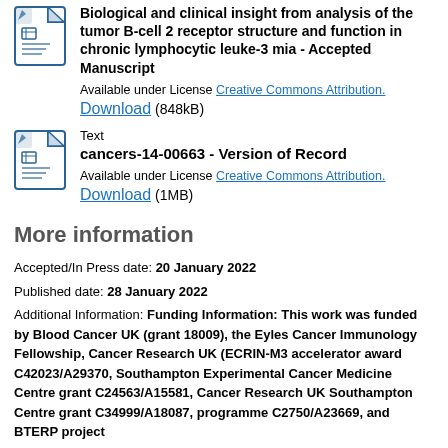[Figure (other): PDF file icon for accepted manuscript]
Biological and clinical insight from analysis of the tumor B-cell 2 receptor structure and function in chronic lymphocytic leuke-3 mia - Accepted Manuscript
Available under License Creative Commons Attribution.
Download (848kB)
[Figure (other): PDF file icon for version of record]
Text
cancers-14-00663 - Version of Record
Available under License Creative Commons Attribution.
Download (1MB)
More information
Accepted/In Press date: 20 January 2022
Published date: 28 January 2022
Additional Information: Funding Information: This work was funded by Blood Cancer UK (grant 18009), the Eyles Cancer Immunology Fellowship, Cancer Research UK (ECRIN-M3 accelerator award C42023/A29370, Southampton Experimental Cancer Medicine Centre grant C24563/A15581, Cancer Research UK Southampton Centre grant C34999/A18087, programme C2750/A23669, and BTERP project